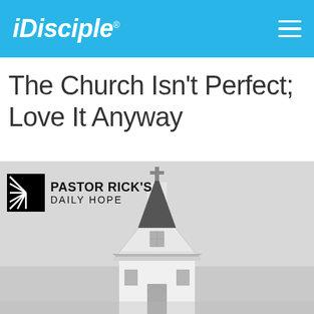iDisciple
The Church Isn't Perfect; Love It Anyway
[Figure (photo): Black and white photograph of a church steeple and upper facade with a cross on top, against a grey sky. Overlaid with Pastor Rick's Daily Hope logo in upper left.]